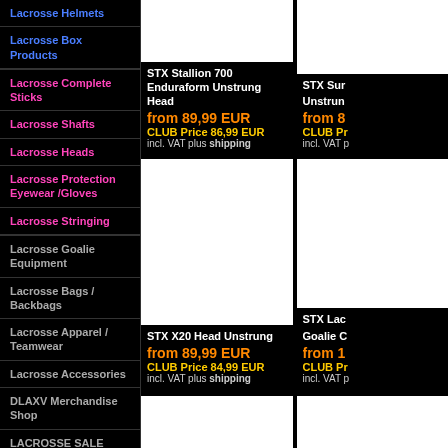Lacrosse Helmets
Lacrosse Box Products
Lacrosse Complete Sticks
Lacrosse Shafts
Lacrosse Heads
Lacrosse Protection Eyewear /Gloves
Lacrosse Stringing
Lacrosse Goalie Equipment
Lacrosse Bags / Backbags
Lacrosse Apparel / Teamwear
Lacrosse Accessories
DLAXV Merchandise Shop
LACROSSE SALE
STX Stallion 700 Enduraform Unstrung Head
from 89,99 EUR
CLUB Price 86,99 EUR
incl. VAT plus shipping
STX Sur... Unstrun...
from 8...
CLUB Pr...
incl. VAT p...
STX X20 Head Unstrung
from 89,99 EUR
CLUB Price 84,99 EUR
incl. VAT plus shipping
STX Lac... Goalie C...
from 1...
CLUB Pr...
incl. VAT p...